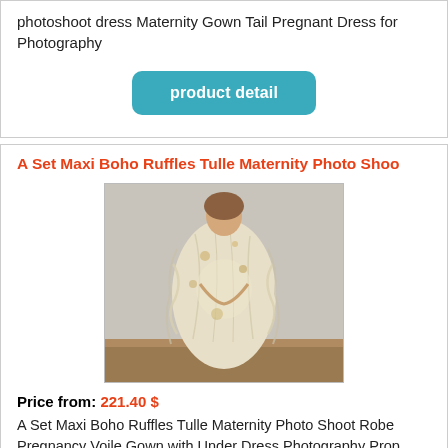photoshoot dress Maternity Gown Tail Pregnant Dress for Photography
[Figure (other): Teal/blue rounded rectangle button with white bold text reading 'product detail']
A Set Maxi Boho Ruffles Tulle Maternity Photo Shoo
[Figure (photo): Pregnant woman wearing a flowy boho tulle maternity gown, cream/beige colored with floral prints, holding her belly, standing against a gray wall with wooden floor.]
Price from: 221.40 $
A Set Maxi Boho Ruffles Tulle Maternity Photo Shoot Robe Pregnancy Voile Gown with Under Dress Photography Prop Baby Shower Gift